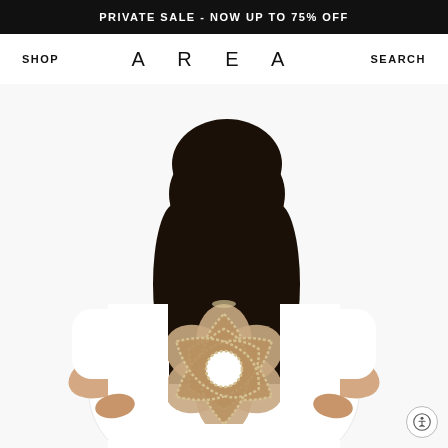PRIVATE SALE - NOW UP TO 75% OFF
SHOP   AREA   SEARCH
[Figure (photo): Woman seen from behind wearing a white oversized t-shirt with a large crystal-trimmed flower-shaped cut-out on the back. She has long dark hair and her hands are on her hips. White background.]